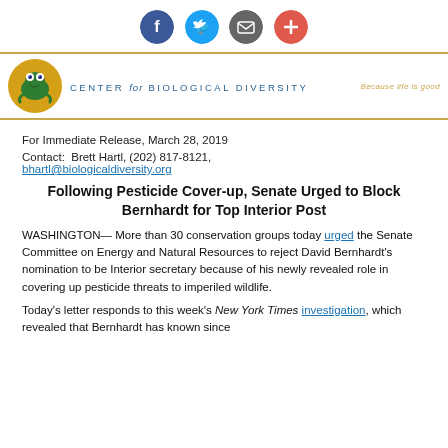[Figure (other): Social media sharing icons: Facebook (blue circle), Twitter (blue circle), email/share (gray circle), plus/more (red-orange circle)]
[Figure (logo): Center for Biological Diversity logo: yellow circle with green frog illustration, text 'CENTER for BIOLOGICAL DIVERSITY', tagline 'Because life is good']
For Immediate Release, March 28, 2019
Contact:  Brett Hartl, (202) 817-8121, bhartl@biologicaldiversity.org
Following Pesticide Cover-up, Senate Urged to Block Bernhardt for Top Interior Post
WASHINGTON— More than 30 conservation groups today urged the Senate Committee on Energy and Natural Resources to reject David Bernhardt's nomination to be Interior secretary because of his newly revealed role in covering up pesticide threats to imperiled wildlife.
Today's letter responds to this week's New York Times investigation, which revealed that Bernhardt has known since